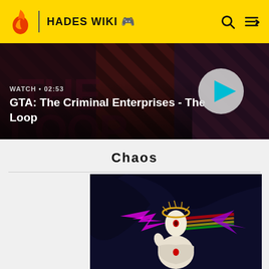HADES WIKI
[Figure (screenshot): Video banner thumbnail for GTA: The Criminal Enterprises - The Loop, showing dark action scene with diagonal stripes, with a circular play button on the right.]
WATCH • 02:53
GTA: The Criminal Enterprises - The Loop
Chaos
[Figure (illustration): Chaos character from Hades game - a pale figure with a single eye in forehead, wearing white tattered robes, with a golden halo, colorful abstract streaks of magenta and rainbow colors, set against a dark blue silhouetted background.]